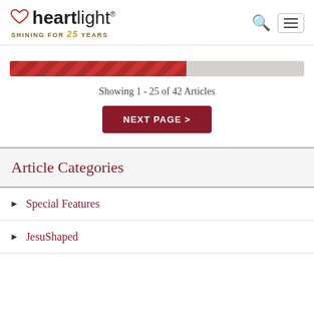heartlight® SHINING FOR 25 YEARS
[Figure (infographic): Progress bar showing approximately 60% filled with a red diagonal striped pattern, remaining portion is light grey, indicating pagination progress through articles.]
Showing 1 - 25 of 42 Articles
NEXT PAGE >
Article Categories
Special Features
JesuShaped